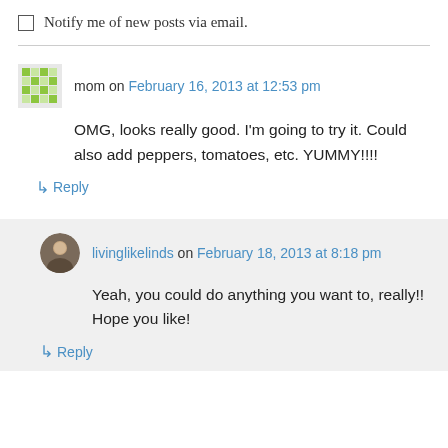Notify me of new posts via email.
mom on February 16, 2013 at 12:53 pm
OMG, looks really good. I'm going to try it. Could also add peppers, tomatoes, etc. YUMMY!!!!
↳ Reply
livinglikelinds on February 18, 2013 at 8:18 pm
Yeah, you could do anything you want to, really!! Hope you like!
↳ Reply